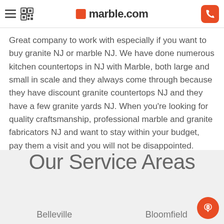marble.com
Great company to work with especially if you want to buy granite NJ or marble NJ. We have done numerous kitchen countertops in NJ with Marble, both large and small in scale and they always come through because they have discount granite countertops NJ and they have a few granite yards NJ. When you're looking for quality craftsmanship, professional marble and granite fabricators NJ and want to stay within your budget, pay them a visit and you will not be disappointed.
Our Service Areas
Belleville
Bloomfield